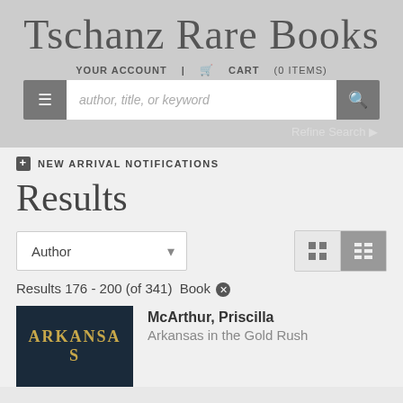Tschanz Rare Books
YOUR ACCOUNT | CART (0 ITEMS)
author, title, or keyword
Refine Search
NEW ARRIVAL NOTIFICATIONS
Results
Author
Results 176 - 200 (of 341)  Book
McArthur, Priscilla
Arkansas in the Gold Rush